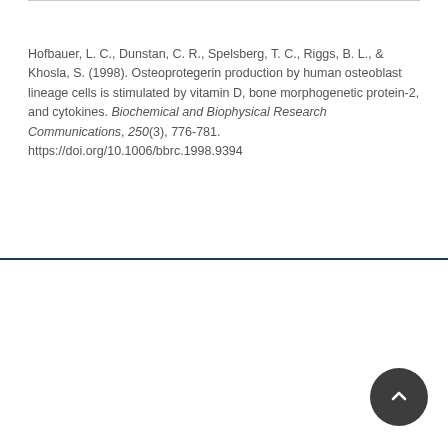Hofbauer, L. C., Dunstan, C. R., Spelsberg, T. C., Riggs, B. L., & Khosla, S. (1998). Osteoprotegerin production by human osteoblast lineage cells is stimulated by vitamin D, bone morphogenetic protein-2, and cytokines. Biochemical and Biophysical Research Communications, 250(3), 776-781. https://doi.org/10.1006/bbrc.1998.9394
Powered by Pure, Scopus & Elsevier Fingerprint Engine™ © 2022 Elsevier B.V
We use cookies to help provide and enhance our service and tailor content. By continuing you agree to the use of cookies
Log in to Pure
About web accessibility